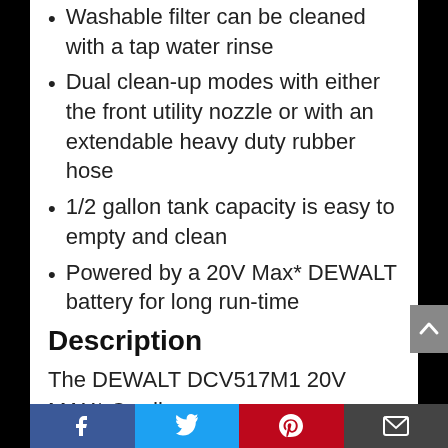Washable filter can be cleaned with a tap water rinse
Dual clean-up modes with either the front utility nozzle or with an extendable heavy duty rubber hose
1/2 gallon tank capacity is easy to empty and clean
Powered by a 20V Max* DEWALT battery for long run-time
Description
The DEWALT DCV517M1 20V MAX* Cordless